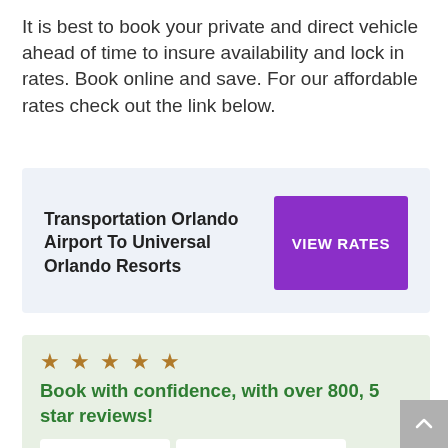It is best to book your private and direct vehicle ahead of time to insure availability and lock in rates. Book online and save. For our affordable rates check out the link below.
[Figure (infographic): Call-to-action box with light blue background. Bold text reads 'Transportation Orlando Airport To Universal Orlando Resorts' with a purple 'VIEW RATES' button on the right.]
[Figure (infographic): Light green review box with 5 gold stars, bold green text 'Book with confidence, with over 800, 5 star reviews!', and two logo images: Google logo and 2021 Travellers' Choice TripAdvisor award badge.]